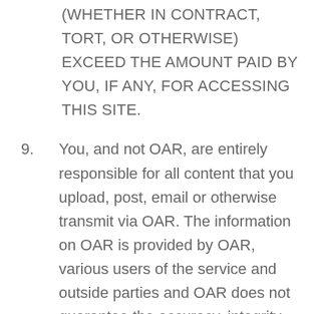(WHETHER IN CONTRACT, TORT, OR OTHERWISE) EXCEED THE AMOUNT PAID BY YOU, IF ANY, FOR ACCESSING THIS SITE.
9. You, and not OAR, are entirely responsible for all content that you upload, post, email or otherwise transmit via OAR. The information on OAR is provided by OAR, various users of the service and outside parties and OAR does not guarantee the accuracy, integrity, tastefulness, or quality of such information.